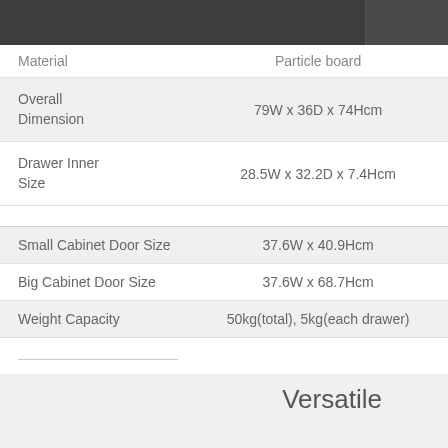| Specification | Value |
| --- | --- |
| Material | Particle board |
| Overall Dimension | 79W x 36D x 74Hcm |
| Drawer Inner Size | 28.5W x 32.2D x 7.4Hcm |
| Small Cabinet Door Size | 37.6W x 40.9Hcm |
| Big Cabinet Door Size | 37.6W x 68.7Hcm |
| Weight Capacity | 50kg(total), 5kg(each drawer) |
Versatile